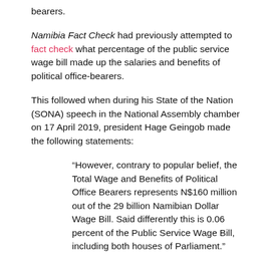bearers.
Namibia Fact Check had previously attempted to fact check what percentage of the public service wage bill made up the salaries and benefits of political office-bearers.
This followed when during his State of the Nation (SONA) speech in the National Assembly chamber on 17 April 2019, president Hage Geingob made the following statements:
“However, contrary to popular belief, the Total Wage and Benefits of Political Office Bearers represents N$160 million out of the 29 billion Namibian Dollar Wage Bill. Said differently this is 0.06 percent of the Public Service Wage Bill, including both houses of Parliament.”